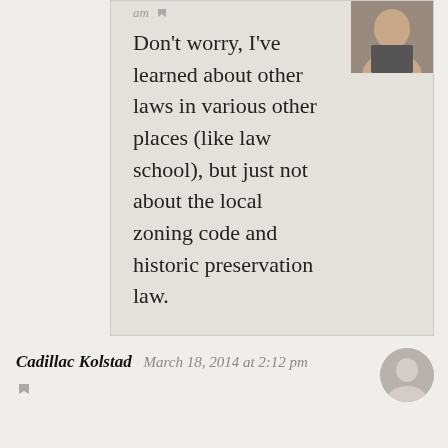am 🏳
Don't worry, I've learned about other laws in various other places (like law school), but just not about the local zoning code and historic preservation law.

As for Nick's lesson, I'm not sure how something could be material without being relevant.
Cadillac Kolstad  March 18, 2014 at 2:12 pm